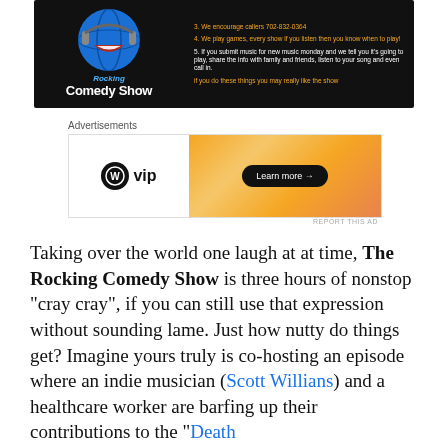[Figure (photo): Rocking Comedy Show banner with globe/headphones logo on black background, listing show rules in orange and white text]
Advertisements
[Figure (photo): WordPress VIP advertisement banner with orange gradient background and 'Learn more' button]
REPORT THIS AD
Taking over the world one laugh at at time, The Rocking Comedy Show is three hours of nonstop “cray cray”, if you can still use that expression without sounding lame. Just how nutty do things get? Imagine yours truly is co-hosting an episode where an indie musician (Scott Willians) and a healthcare worker are barfing up their contributions to the “Death